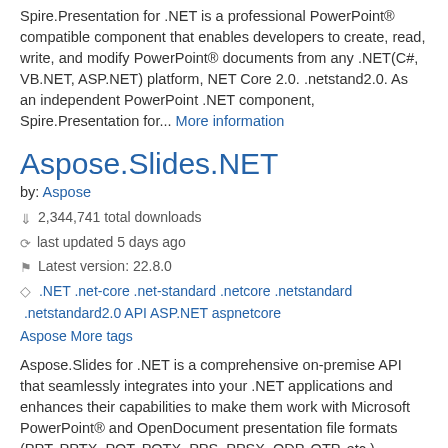Spire.Presentation for .NET is a professional PowerPoint® compatible component that enables developers to create, read, write, and modify PowerPoint® documents from any .NET(C#, VB.NET, ASP.NET) platform, NET Core 2.0. .netstand2.0. As an independent PowerPoint .NET component, Spire.Presentation for... More information
Aspose.Slides.NET
by: Aspose
2,344,741 total downloads
last updated 5 days ago
Latest version: 22.8.0
.NET .net-core .net-standard .netcore .netstandard .netstandard2.0 API ASP.NET aspnetcore Aspose More tags
Aspose.Slides for .NET is a comprehensive on-premise API that seamlessly integrates into your .NET applications and enhances their capabilities to make them work with Microsoft PowerPoint® and OpenDocument presentation file formats (PPT, PPTX, POT, POTX, PPS, PPSX, ODP, OTP, etc.). Without having... More information